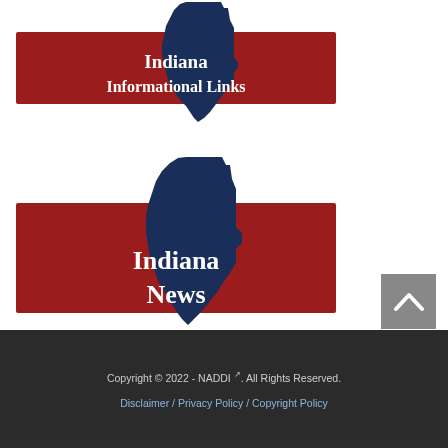[Figure (illustration): Indiana state silhouette with red banner reading 'Indiana Informational Links' in white serif text on a dark navy blue state outline over a dark red horizontal bar]
[Figure (illustration): Indiana state silhouette with red banner reading 'Indiana News' in white serif text on a dark navy blue state outline over a dark red horizontal bar]
Copyright © 2022 - NADDI ↗. All Rights Reserved. Disclaimer / Privacy Policy / Copyright Policy